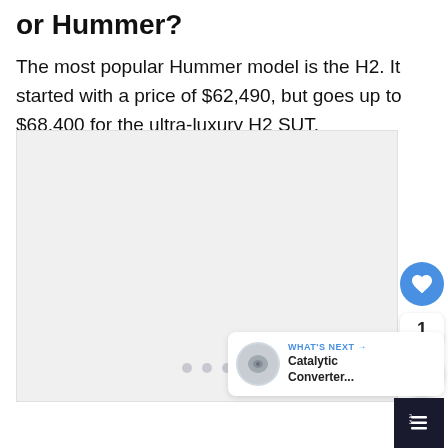or Hummer?
The most popular Hummer model is the H2. It started with a price of $62,490, but goes up to $68,400 for the ultra-luxury H2 SUT.
[Figure (photo): Light gray image placeholder area with three small dots indicating a carousel or image slideshow]
[Figure (other): What's Next panel with small circular thumbnail image of a catalytic converter and text reading 'Catalytic Converter...']